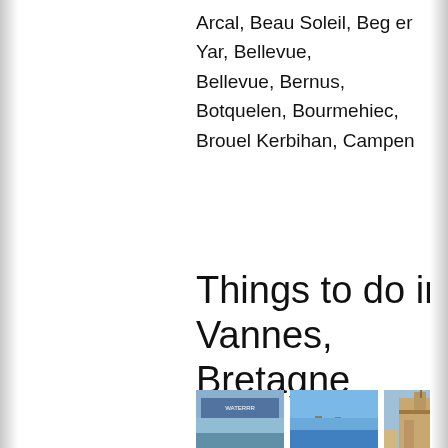Arcal, Beau Soleil, Beg er Yar, Bellevue, Bellevue, Bernus, Botquelen, Bourmehiec, Brouel Kerbihan, Campen
Things to do in Vannes, Bretagne
[Figure (photo): Photo of Action store exterior with blue facade]
Action
[Figure (photo): Photo of Alignements de Carnac standing stones in green field under blue sky]
Alignements de Carnac
[Figure (photo): Photo of Basilique Notre-Dame du Roncier gothic stone church under blue sky]
Basilique Notre-Dame du Roncier